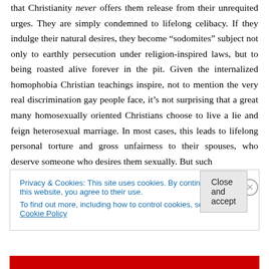that Christianity never offers them release from their unrequited urges. They are simply condemned to lifelong celibacy. If they indulge their natural desires, they become “sodomites” subject not only to earthly persecution under religion-inspired laws, but to being roasted alive forever in the pit. Given the internalized homophobia Christian teachings inspire, not to mention the very real discrimination gay people face, it’s not surprising that a great many homosexually oriented Christians choose to live a lie and feign heterosexual marriage. In most cases, this leads to lifelong personal torture and gross unfairness to their spouses, who deserve someone who desires them sexually. But such
Privacy & Cookies: This site uses cookies. By continuing to use this website, you agree to their use.
To find out more, including how to control cookies, see here: Cookie Policy